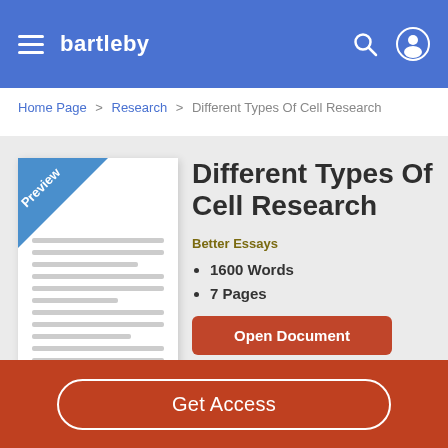bartleby
Home Page > Research > Different Types Of Cell Research
[Figure (screenshot): Preview image of a document with a blue 'Preview' corner banner and grey text lines]
Different Types Of Cell Research
Better Essays
1600 Words
7 Pages
Open Document
Get Access